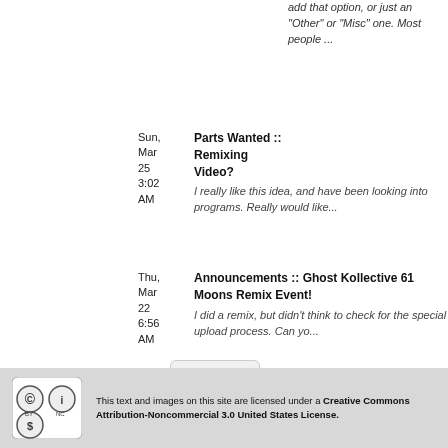add that option, or just an "Other" or "Misc" one. Most people ...
Sun, Mar 25 3:02 AM
Parts Wanted :: Remixing Video?
I really like this idea, and have been looking into programs. Really would like...
Thu, Mar 22 6:56 AM
Announcements :: Ghost Kollective 61 Moons Remix Event!
I did a remix, but didn't think to check for the special upload process. Can yo...
More >>>
This text and images on this site are licensed under a Creative Commons Attribution-Noncommercial 3.0 United States License.